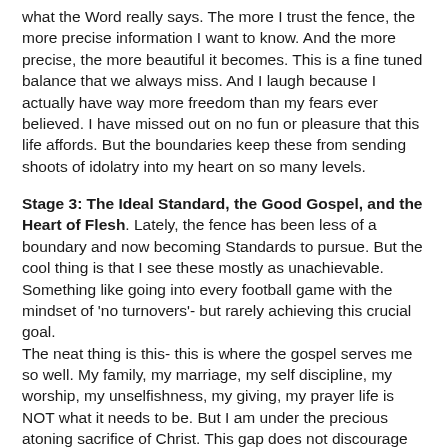what the Word really says. The more I trust the fence, the more precise information I want to know. And the more precise, the more beautiful it becomes. This is a fine tuned balance that we always miss. And I laugh because I actually have way more freedom than my fears ever believed. I have missed out on no fun or pleasure that this life affords. But the boundaries keep these from sending shoots of idolatry into my heart on so many levels.
Stage 3: The Ideal Standard, the Good Gospel, and the Heart of Flesh. Lately, the fence has been less of a boundary and now becoming Standards to pursue. But the cool thing is that I see these mostly as unachievable. Something like going into every football game with the mindset of 'no turnovers'- but rarely achieving this crucial goal. The neat thing is this- this is where the gospel serves me so well. My family, my marriage, my self discipline, my worship, my unselfishness, my giving, my prayer life is NOT what it needs to be. But I am under the precious atoning sacrifice of Christ. This gap does not discourage me- I am loved and forgiven. So I get up and run a little better tomorrow. And